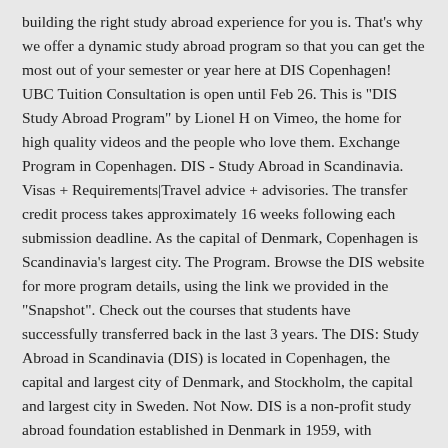building the right study abroad experience for you is. That's why we offer a dynamic study abroad program so that you can get the most out of your semester or year here at DIS Copenhagen! UBC Tuition Consultation is open until Feb 26. This is "DIS Study Abroad Program" by Lionel H on Vimeo, the home for high quality videos and the people who love them. Exchange Program in Copenhagen. DIS - Study Abroad in Scandinavia. Visas + Requirements|Travel advice + advisories. The transfer credit process takes approximately 16 weeks following each submission deadline. As the capital of Denmark, Copenhagen is Scandinavia's largest city. The Program. Browse the DIS website for more program details, using the link we provided in the "Snapshot". Check out the courses that students have successfully transferred back in the last 3 years. The DIS: Study Abroad in Scandinavia (DIS) is located in Copenhagen, the capital and largest city of Denmark, and Stockholm, the capital and largest city in Sweden. Not Now. DIS is a non-profit study abroad foundation established in Denmark in 1959, with locations in Copenhagen and Stockholm. Or, in the summer, you can mix and match between either DIS location over five sessions – staying for just one session or adding together two to three sessions. Choose a core course from 28 academic programs and select from over 250 upper-level elective courses. Learn about DIS - Study Abroad!